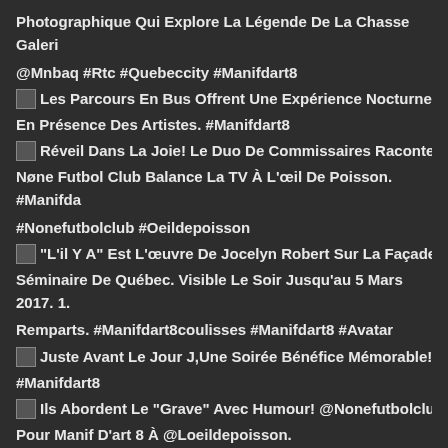Photographique Qui Explore La Légende De La Chasse Galeri…
@Mnbaq #Rtc #Quebeccity #Manifdart8
[Figure (photo): Thumbnail image next to text: Les Parcours En Bus Offrent Une Expérience Nocturne À T…]
En Présence Des Artistes. #Manifdart8
[Figure (photo): Thumbnail image next to text: Réveil Dans La Joie! Le Duo De Commissaires Raconte La J…]
Nøne Futbol Club Balance La TV À L'œil De Poisson. #Manifda…
#Nonefutbolclub #Oeildepoisson
[Figure (photo): Thumbnail image next to text: "L'il Y A" Est L'œuvre De Jocelyn Robert Sur La Façade Du P…]
Séminaire De Québec. Visible Le Soir Jusqu'au 5 Mars 2017. 1…
Remparts. #Manifdart8coulisses #Manifdart8 #Avatar
[Figure (photo): Thumbnail image next to text: Juste Avant Le Jour J,Une Soirée Bénéfice Mémorable! @M…]
#Manifdart8
[Figure (photo): Thumbnail image next to text: Ils Abordent Le "Grave" Avec Humour! @Nonefutbolclub En…]
Pour Manif D'art 8 À @Loeildepoisson. #Manifdart8coulisses
[Figure (photo): Thumbnail image (partial, cut off at bottom)]